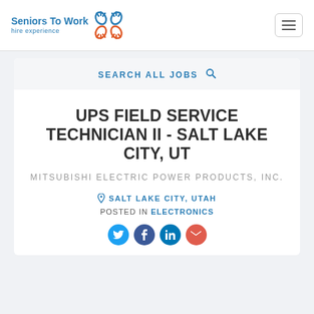Seniors To Work — hire experience
SEARCH ALL JOBS
UPS FIELD SERVICE TECHNICIAN II - SALT LAKE CITY, UT
MITSUBISHI ELECTRIC POWER PRODUCTS, INC.
SALT LAKE CITY, UTAH
POSTED IN ELECTRONICS